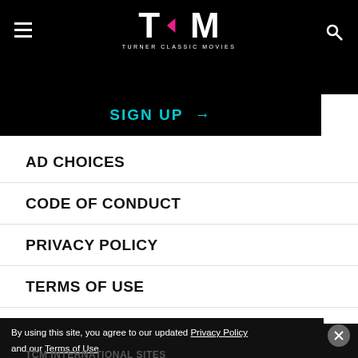TCM - TURNER CLASSIC MOVIES
SIGN UP →
AD CHOICES
CODE OF CONDUCT
PRIVACY POLICY
TERMS OF USE
CONTACT
PRESS
By using this site, you agree to our updated Privacy Policy and our Terms of Use
TCM INTERNATIONAL SITES